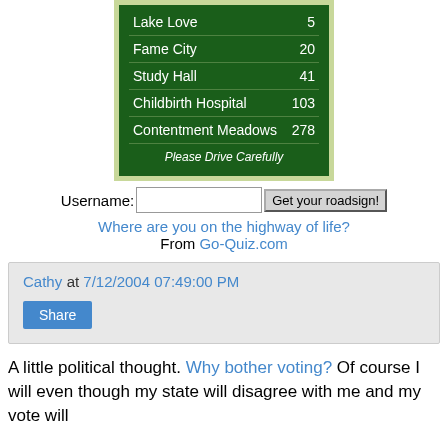| Location | Value |
| --- | --- |
| Lake Love | 5 |
| Fame City | 20 |
| Study Hall | 41 |
| Childbirth Hospital | 103 |
| Contentment Meadows | 278 |
Please Drive Carefully
Username: [input] Get your roadsign!
Where are you on the highway of life? From Go-Quiz.com
Cathy at 7/12/2004 07:49:00 PM
Share
A little political thought. Why bother voting? Of course I will even though my state will disagree with me and my vote will